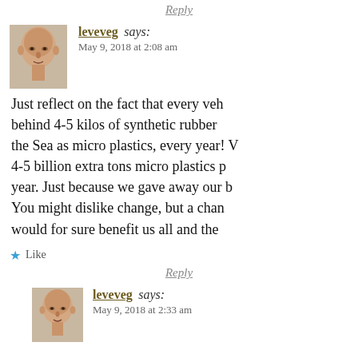Reply
[Figure (photo): Avatar photo of user leveveg — bald person, close-up face photo]
leveveg says:
May 9, 2018 at 2:08 am
Just reflect on the fact that every veh behind 4-5 kilos of synthetic rubber the Sea as micro plastics, every year! 4-5 billion extra tons micro plastics p year. Just because we gave away our b You might dislike change, but a char would for sure benefit us all and the
Like
Reply
[Figure (photo): Avatar photo of user leveveg — bald person, close-up face photo]
leveveg says:
May 9, 2018 at 2:33 am